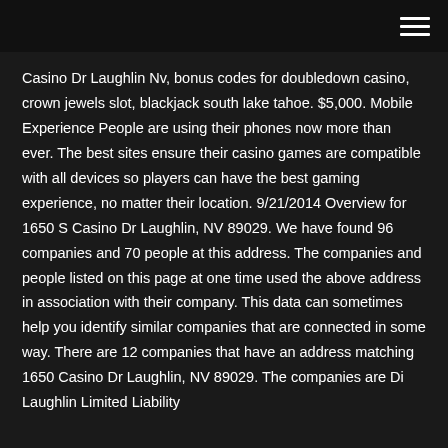Casino Dr Laughlin Nv, bonus codes for doubledown casino, crown jewels slot, blackjack south lake tahoe. $5,000. Mobile Experience People are using their phones now more than ever. The best sites ensure their casino games are compatible with all devices so players can have the best gaming experience, no matter their location. 9/21/2014 Overview for 1650 S Casino Dr Laughlin, NV 89029. We have found 96 companies and 70 people at this address. The companies and people listed on this page at one time used the above address in association with their company. This data can sometimes help you identify similar companies that are connected in some way. There are 12 companies that have an address matching 1650 Casino Dr Laughlin, NV 89029. The companies are Di Laughlin Limited Liability